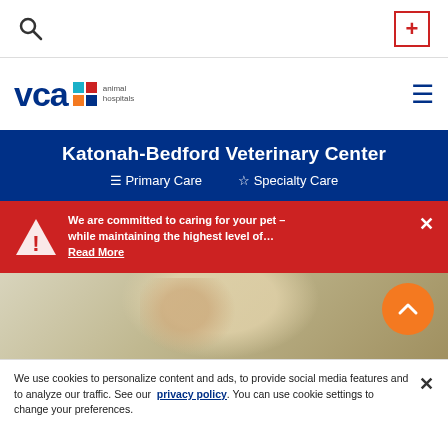VCA Animal Hospitals – Katonah-Bedford Veterinary Center
[Figure (logo): VCA Animal Hospitals logo with colorful squares and text]
Katonah-Bedford Veterinary Center
≡ Primary Care   ☆ Specialty Care
We are committed to caring for your pet – while maintaining the highest level of… Read More
[Figure (photo): A woman with blonde hair hugging a dark-colored dog, hero banner image]
We use cookies to personalize content and ads, to provide social media features and to analyze our traffic. See our privacy policy. You can use cookie settings to change your preferences.